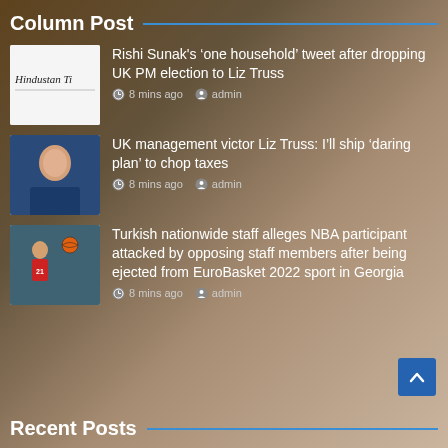Column Post
Rishi Sunak's ‘one household’ tweet after dropping UK PM election to Liz Truss | 8 mins ago | admin
UK management victor Liz Truss: I’ll ship ‘daring plan’ to chop taxes | 8 mins ago | admin
Turkish nationwide staff alleges NBA participant attacked by opposing staff members after being ejected from EuroBasket 2022 sport in Georgia | 8 mins ago | admin
Recent Posts